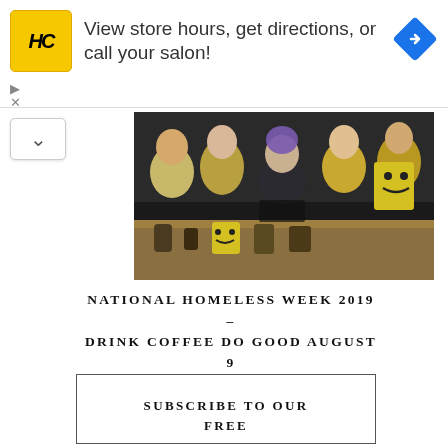[Figure (other): Advertisement banner: HC logo (yellow square with black HC text), text 'View store hours, get directions, or call your salon!', and a blue diamond navigation icon on the right.]
[Figure (photo): Group photo of cafe workers wearing yellow aprons and black aprons, smiling and posing behind a counter with coffee equipment and smiley face branding signs.]
NATIONAL HOMELESS WEEK 2019 – DRINK COFFEE DO GOOD AUGUST 9
SUBSCRIBE TO OUR FREE